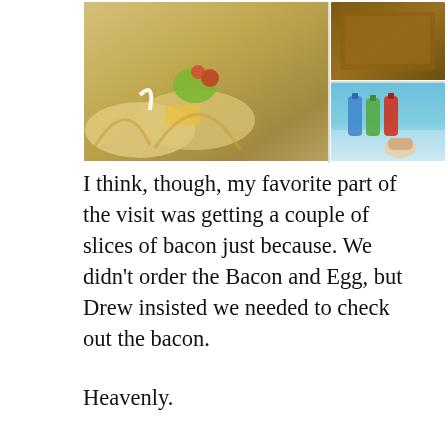[Figure (photo): Food photo collage: left side shows two or three tacos in flour tortillas topped with avocado, tomatoes, cheese, sour cream; right side top shows a baked dessert/bread item; right side bottom shows colorful sauce bottles (blue, green, red) on a teal surface and a hand holding a small taco.]
I think, though, my favorite part of the visit was getting a couple of slices of bacon just because. We didn't order the Bacon and Egg, but Drew insisted we needed to check out the bacon.
Heavenly.
People, they candy their bacon lightly with brown sugar. Heavenly.